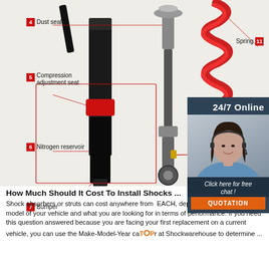[Figure (engineering-diagram): Labeled diagram of shock absorber components: Dust seals (4), Compression adjustment seat (5), Nitrogen reservoir (6), Bumper (7), Spring (11), Rebound (partial label). Shows two shock absorber assemblies and a coil spring. Annotation lines in red connect numbered labels to parts.]
[Figure (infographic): Live chat widget with '24/7 Online' text, photo of female customer service agent wearing headset, 'Click here for free chat!' text, and orange 'QUOTATION' button.]
How Much Should It Cost To Install Shocks ...
Shock absorbers or struts can cost anywhere from EACH, depending on the make and model of your vehicle and what you are looking for in terms of performance. If you need this question answered because you are facing your first replacement on a current vehicle, you can use the Make-Model-Year ca or at Shockwarehouse to determine ...